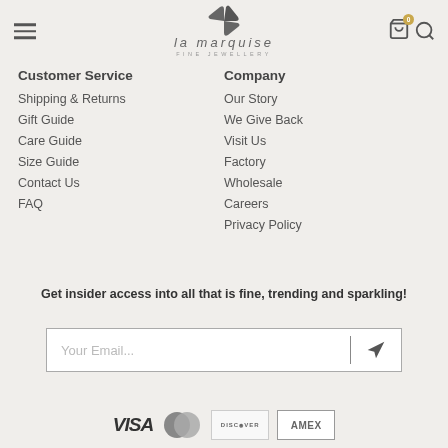La Marquise Fine Jewellery
Customer Service
Shipping & Returns
Gift Guide
Care Guide
Size Guide
Contact Us
FAQ
Company
Our Story
We Give Back
Visit Us
Factory
Wholesale
Careers
Privacy Policy
Get insider access into all that is fine, trending and sparkling!
[Figure (other): Email subscription input field with send arrow button]
[Figure (other): Payment method logos: VISA, MasterCard, Discover, American Express]